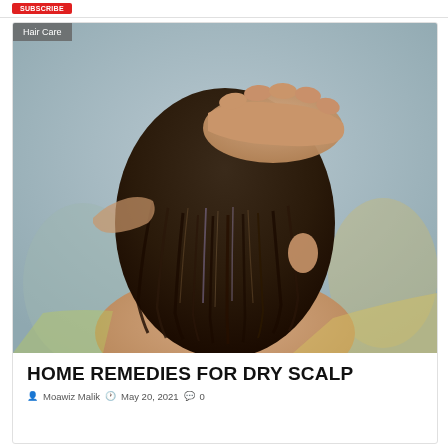[Figure (photo): A person with wet dark hair being washed or treated, hands massaging scalp, viewed from behind. Background is blurred. Category badge 'Hair Care' visible in top-left corner of image.]
HOME REMEDIES FOR DRY SCALP
Moawiz Malik  May 20, 2021  0